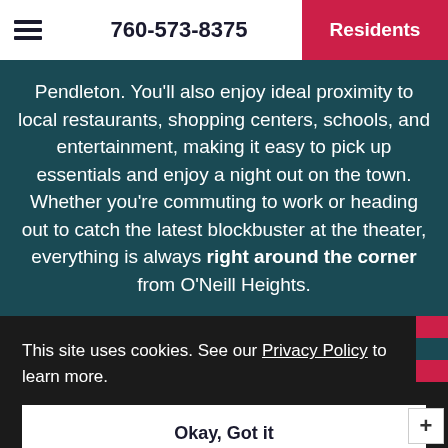760-573-8375  Residents
Pendleton. You'll also enjoy ideal proximity to local restaurants, shopping centers, schools, and entertainment, making it easy to pick up essentials and enjoy a night out on the town. Whether you're commuting to work or heading out to catch the latest blockbuster at the theater, everything is always right around the corner from O'Neill Heights.
This site uses cookies. See our Privacy Policy to learn more.
Okay, Got it